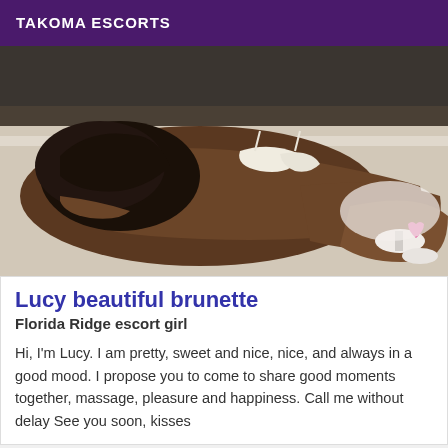TAKOMA ESCORTS
[Figure (photo): Photo of a woman in white lingerie posing on a bed]
Lucy beautiful brunette
Florida Ridge escort girl
Hi, I'm Lucy. I am pretty, sweet and nice, nice, and always in a good mood. I propose you to come to share good moments together, massage, pleasure and happiness. Call me without delay See you soon, kisses
[Figure (photo): Partial photo of a person with curly hair, cropped at bottom of page]